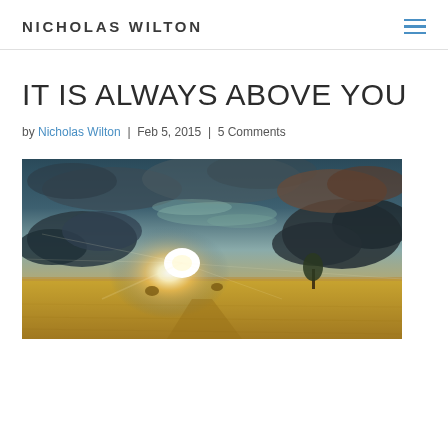NICHOLAS WILTON
IT IS ALWAYS ABOVE YOU
by Nicholas Wilton | Feb 5, 2015 | 5 Comments
[Figure (photo): Dramatic landscape photo showing a wide open field under a stormy sky with bright sunlight breaking through clouds near the horizon, with haystacks and a lone tree visible in the distance.]